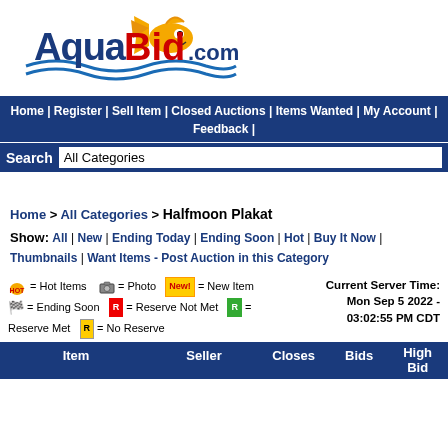[Figure (logo): AquaBid.com logo with cartoon fish character]
Home | Register | Sell Item | Closed Auctions | Items Wanted | My Account | Feedback |
Search  All Categories
Home > All Categories > Halfmoon Plakat
Show: All | New | Ending Today | Ending Soon | Hot | Buy It Now | Thumbnails | Want Items - Post Auction in this Category
= Hot Items  = Photo  New! = New Item  = Ending Soon  R = Reserve Not Met  R = Reserve Met  R = No Reserve   Current Server Time: Mon Sep 5 2022 - 03:02:55 PM CDT
| Item | Seller | Closes | Bids | High Bid |
| --- | --- | --- | --- | --- |